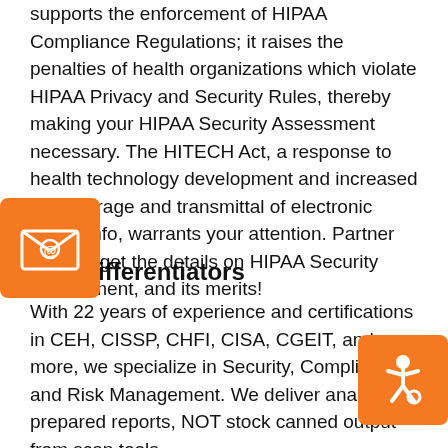supports the enforcement of HIPAA Compliance Regulations; it raises the penalties of health organizations which violate HIPAA Privacy and Security Rules, thereby making your HIPAA Security Assessment necessary. The HITECH Act, a response to health technology development and increased use, storage and transmittal of electronic health info, warrants your attention. Partner with us; get the details on HIPAA Security Assessment, and its merits!
[Figure (illustration): Orange square widget with email envelope icon showing @ symbol]
Key Differentiators
With 22 years of experience and certifications in CEH, CISSP, CHFI, CISA, CGEIT, and more, we specialize in Security, Compliance and Risk Management. We deliver analyst prepared reports, NOT stock canned output from scan tools.
[Figure (illustration): Orange square widget with accessibility wheelchair icon]